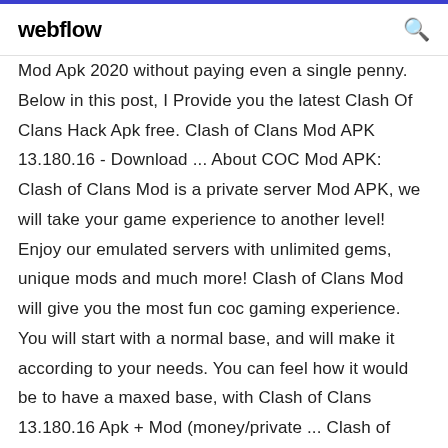webflow
Mod Apk 2020 without paying even a single penny. Below in this post, I Provide you the latest Clash Of Clans Hack Apk free. Clash of Clans Mod APK 13.180.16 - Download ... About COC Mod APK: Clash of Clans Mod is a private server Mod APK, we will take your game experience to another level! Enjoy our emulated servers with unlimited gems, unique mods and much more! Clash of Clans Mod will give you the most fun coc gaming experience. You will start with a normal base, and will make it according to your needs. You can feel how it would be to have a maxed base, with Clash of Clans 13.180.16 Apk + Mod (money/private ... Clash of Clans Apk 13.180.16 + MOD (A lot of